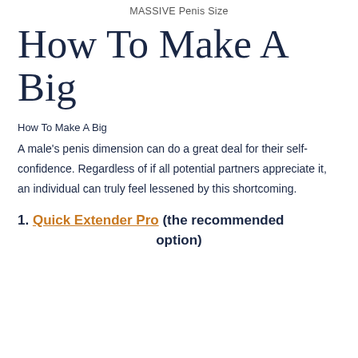MASSIVE Penis Size
How To Make A Big
How To Make A Big
A male's penis dimension can do a great deal for their self-confidence. Regardless of if all potential partners appreciate it, an individual can truly feel lessened by this shortcoming.
1. Quick Extender Pro (the recommended option)